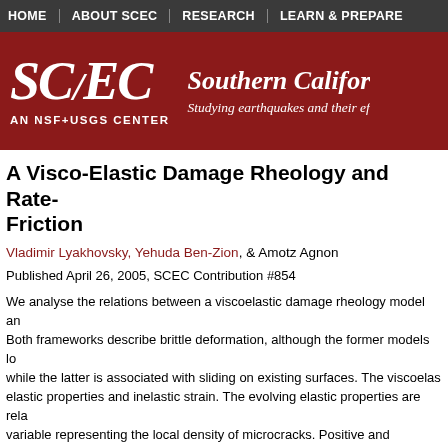HOME | ABOUT SCEC | RESEARCH | LEARN & PREPARE
[Figure (logo): SCEC Southern California Earthquake Center logo on dark red background. Shows SC/EC logo text with italic serif font, tagline 'AN NSF+USGS CENTER', and text 'Southern Califor... Studying earthquakes and their ef...']
A Visco-Elastic Damage Rheology and Rate- Friction
Vladimir Lyakhovsky, Yehuda Ben-Zion, & Amotz Agnon
Published April 26, 2005, SCEC Contribution #854
We analyse the relations between a viscoelastic damage rheology model an... Both frameworks describe brittle deformation, although the former models lo... while the latter is associated with sliding on existing surfaces. The viscoelas... elastic properties and inelastic strain. The evolving elastic properties are rela... variable representing the local density of microcracks. Positive and negative ... respectively, to degradation and recovery of the material in response to load... ation processes with localized damage and surface contact related...